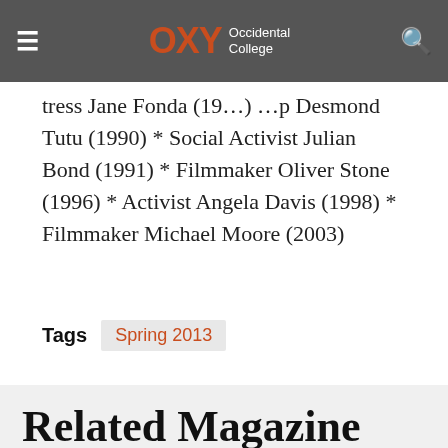OXY Occidental College
tress Jane Fonda (19...) ...p Desmond Tutu (1990) * Social Activist Julian Bond (1991) * Filmmaker Oliver Stone (1996) * Activist Angela Davis (1998) * Filmmaker Michael Moore (2003)
Tags  Spring 2013
Related Magazine Articles